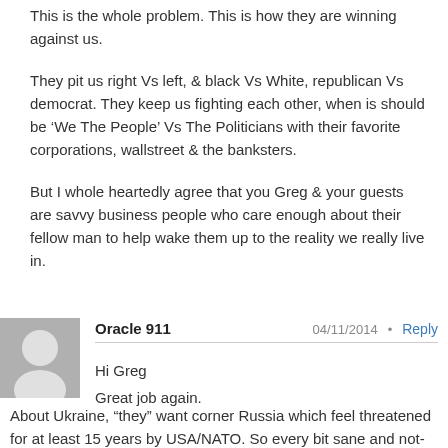This is the whole problem. This is how they are winning against us.
They pit us right Vs left, & black Vs White, republican Vs democrat. They keep us fighting each other, when is should be ‘We The People’ Vs The Politicians with their favorite corporations, wallstreet & the banksters.
But I whole heartedly agree that you Greg & your guests are savvy business people who care enough about their fellow man to help wake them up to the reality we really live in.
Oracle 911    04/11/2014 •   Reply
Hi Greg
Great job again.
About Ukraine, “they” want corner Russia which feel threatened for at least 15 years by USA/NATO. So every bit sane and not-hypocritical policy maker would expect some kind of respond in